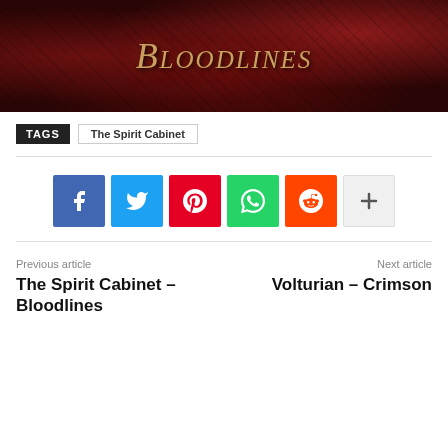[Figure (illustration): Dark red banner image with gothic/horror illustration background and the word 'Bloodlines' in ornate Gothic calligraphy font centered in gold/tan color]
TAGS   The Spirit Cabinet
Social sharing buttons: Facebook, Twitter, Pinterest, WhatsApp, Reddit, More
Previous article
The Spirit Cabinet – Bloodlines
Next article
Volturian – Crimson